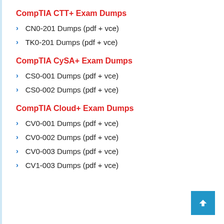CompTIA CTT+ Exam Dumps
CN0-201 Dumps (pdf + vce)
TK0-201 Dumps (pdf + vce)
CompTIA CySA+ Exam Dumps
CS0-001 Dumps (pdf + vce)
CS0-002 Dumps (pdf + vce)
CompTIA Cloud+ Exam Dumps
CV0-001 Dumps (pdf + vce)
CV0-002 Dumps (pdf + vce)
CV0-003 Dumps (pdf + vce)
CV1-003 Dumps (pdf + vce)